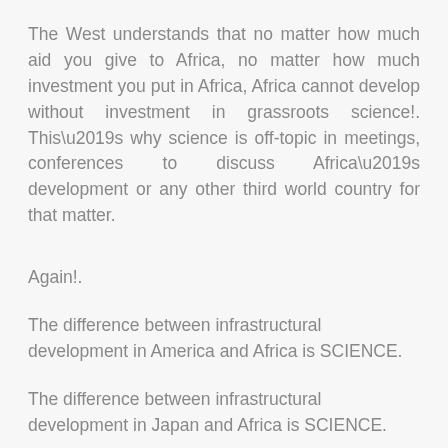The West understands that no matter how much aid you give to Africa, no matter how much investment you put in Africa, Africa cannot develop without investment in grassroots science!. This’s why science is off-topic in meetings, conferences to discuss Africa’s development or any other third world country for that matter.
Again!.
The difference between infrastructural development in America and Africa is SCIENCE.
The difference between infrastructural development in Japan and Africa is SCIENCE.